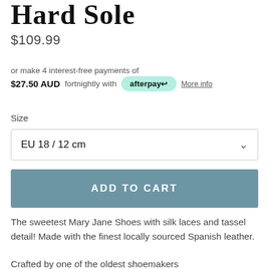Hard Sole
$109.99
or make 4 interest-free payments of $27.50 AUD fortnightly with afterpay More info
Size
EU 18 / 12 cm
ADD TO CART
The sweetest Mary Jane Shoes with silk laces and tassel detail! Made with the finest locally sourced Spanish leather.
Crafted by one of the oldest shoemakers